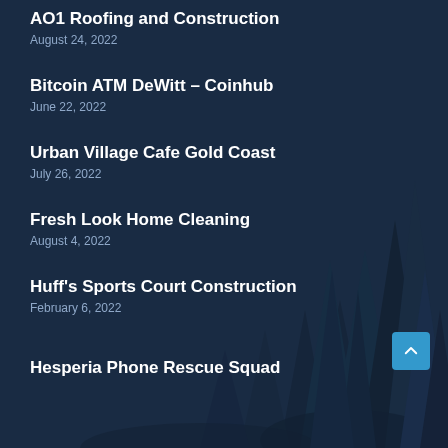[Figure (illustration): Dark navy blue forest background with silhouettes of tall pine/fir trees in deep blue tones]
AO1 Roofing and Construction
August 24, 2022
Bitcoin ATM DeWitt – Coinhub
June 22, 2022
Urban Village Cafe Gold Coast
July 26, 2022
Fresh Look Home Cleaning
August 4, 2022
Huff's Sports Court Construction
February 6, 2022
Hesperia Phone Rescue Squad